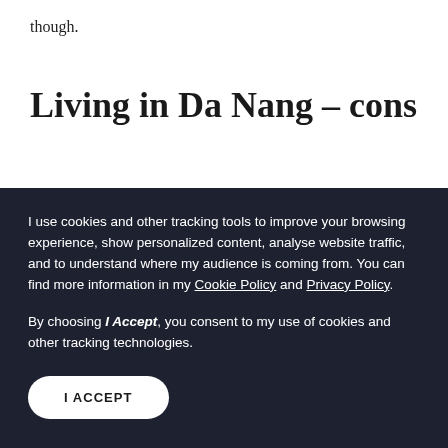though.
Living in Da Nang – cons
I use cookies and other tracking tools to improve your browsing experience, show personalized content, analyse website traffic, and to understand where my audience is coming from. You can find more information in my Cookie Policy and Privacy Policy.
By choosing I Accept, you consent to my use of cookies and other tracking technologies.
I ACCEPT